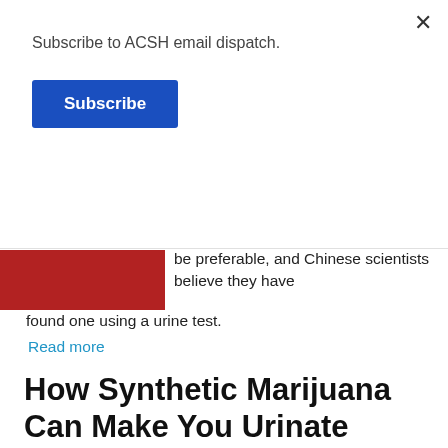Subscribe to ACSH email dispatch.
Subscribe
be preferable, and Chinese scientists believe they have found one using a urine test.
Read more
How Synthetic Marijuana Can Make You Urinate Blood and Die
Synthetic cannabinoids are sometimes mixed with rat poison, which causes uncontrollable bleeding. So, as it